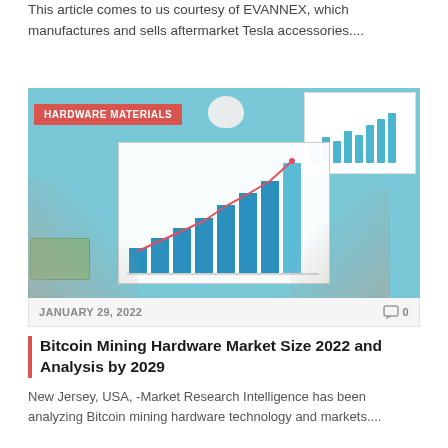This article comes to us courtesy of EVANNEX, which manufactures and sells aftermarket Tesla accessories....
[Figure (photo): Photo of two thumbs up in front of a bar and line chart showing growth, with cash, coins, piggy bank, and magnifier on a blue background. Category badge says HARDWARE MATERIALS.]
JANUARY 29, 2022
0
Bitcoin Mining Hardware Market Size 2022 and Analysis by 2029
New Jersey, USA, -Market Research Intelligence has been analyzing Bitcoin mining hardware technology and markets....